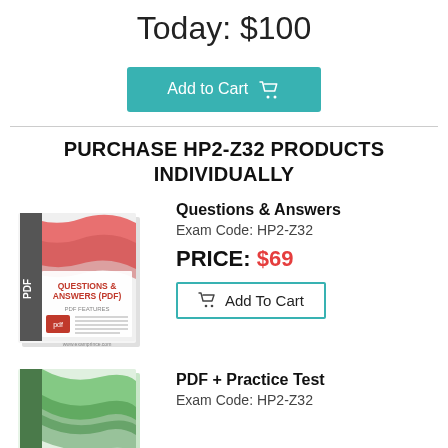Today: $100
Add to Cart
PURCHASE HP2-Z32 PRODUCTS INDIVIDUALLY
[Figure (illustration): Product box for Questions & Answers PDF with red and white design, PDF label on spine, red pdf icon, and listed features]
Questions & Answers
Exam Code: HP2-Z32
PRICE: $69
Add To Cart
[Figure (illustration): Product box for PDF + Practice Test with green wave design]
PDF + Practice Test
Exam Code: HP2-Z32